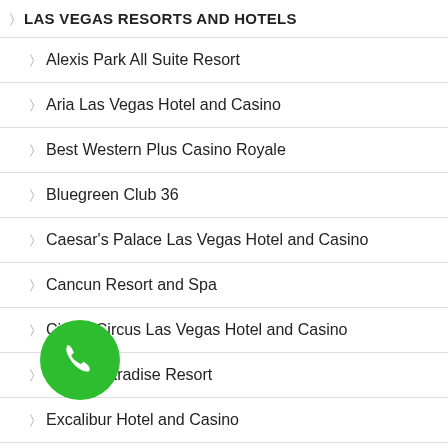LAS VEGAS RESORTS AND HOTELS
Alexis Park All Suite Resort
Aria Las Vegas Hotel and Casino
Best Western Plus Casino Royale
Bluegreen Club 36
Caesar's Palace Las Vegas Hotel and Casino
Cancun Resort and Spa
Circus Circus Las Vegas Hotel and Casino
Desert Paradise Resort
Excalibur Hotel and Casino
Flamingo Las Vegas Hotel & Casino
Four Queens Hotel and Casino Vacation
[Figure (illustration): Green circular phone call button with white phone handset icon]